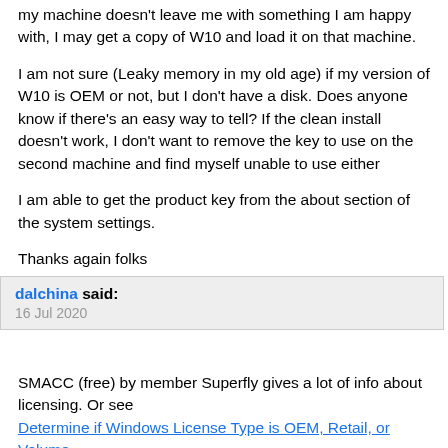my machine doesn't leave me with something I am happy with, I may get a copy of W10 and load it on that machine.
I am not sure (Leaky memory in my old age) if my version of W10 is OEM or not, but I don't have a disk. Does anyone know if there's an easy way to tell? If the clean install doesn't work, I don't want to remove the key to use on the second machine and find myself unable to use either
I am able to get the product key from the about section of the system settings.
Thanks again folks
dalchina said: 16 Jul 2020
SMACC (free) by member Superfly gives a lot of info about licensing. Or see Determine if Windows License Type is OEM, Retail, or Volume
Note that a clean install is to unallocated space and requires you delete any and all Windows partitions (typically